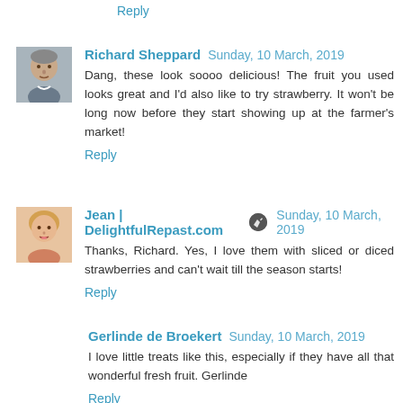Reply
Richard Sheppard  Sunday, 10 March, 2019
Dang, these look soooo delicious! The fruit you used looks great and I'd also like to try strawberry. It won't be long now before they start showing up at the farmer's market!
Reply
Jean | DelightfulRepast.com  Sunday, 10 March, 2019
Thanks, Richard. Yes, I love them with sliced or diced strawberries and can't wait till the season starts!
Reply
Gerlinde de Broekert  Sunday, 10 March, 2019
I love little treats like this, especially if they have all that wonderful fresh fruit. Gerlinde
Reply